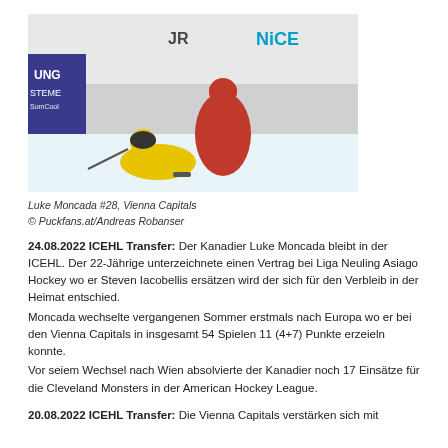[Figure (photo): Ice hockey action photo showing Luke Moncada #28 in yellow Vienna Capitals jersey on the ice with a red-uniformed player #21 behind him. Arena boards visible in background with 'NICE' and 'JR' sponsor logos.]
Luke Moncada #28, Vienna Capitals
© Puckfans.at/Andreas Robanser
24.08.2022 ICEHL Transfer: Der Kanadier Luke Moncada bleibt in der ICEHL. Der 22-Jährige unterzeichnete einen Vertrag bei Liga Neuling Asiago Hockey wo er Steven Iacobellis ersätzen wird der sich für den Verbleib in der Heimat entschied.
Moncada wechselte vergangenen Sommer erstmals nach Europa wo er bei den Vienna Capitals in insgesamt 54 Spielen 11 (4+7) Punkte erzeieln konnte.
Vor seiem Wechsel nach Wien absolvierte der Kanadier noch 17 Einsätze für die Cleveland Monsters in der American Hockey League.
20.08.2022 ICEHL Transfer: Die Vienna Capitals verstärken sich mit